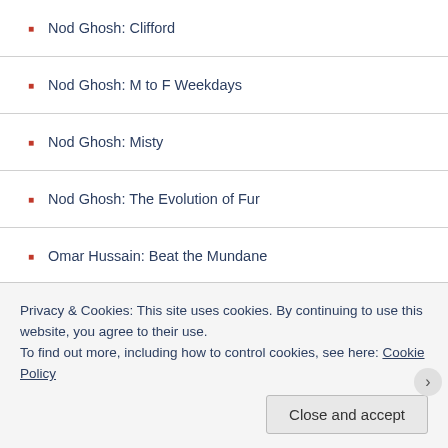Nod Ghosh: Clifford
Nod Ghosh: M to F Weekdays
Nod Ghosh: Misty
Nod Ghosh: The Evolution of Fur
Omar Hussain: Beat the Mundane
Oscar Windsor-Smith: The Real Deal
Patience Mackarness: Us
Paul Alex Gray: Aphelion
Paul B. Cohen: Safe in Parks
Paul Beckman: A Different Kind of Practice
Privacy & Cookies: This site uses cookies. By continuing to use this website, you agree to their use. To find out more, including how to control cookies, see here: Cookie Policy
Close and accept